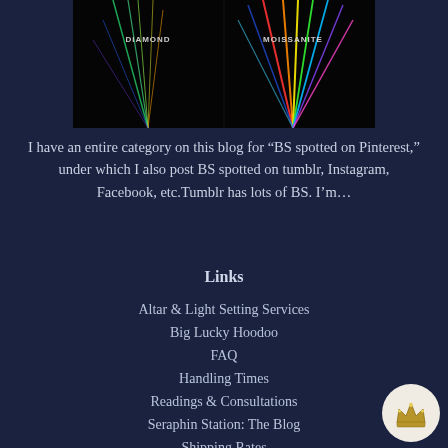[Figure (photo): Dark image comparing Diamond and Moissanite gemstone light dispersion, with colorful light rays on black background. Labels 'DIAMOND' and 'MOISSANITE' visible.]
I have an entire category on this blog for “BS spotted on Pinterest,” under which I also post BS spotted on tumblr, Instagram, Facebook, etc.Tumblr has lots of BS. I’m...
Links
Altar & Light Setting Services
Big Lucky Hoodoo
FAQ
Handling Times
Readings & Consultations
Seraphin Station: The Blog
Shipping Rates
Terms of Service
[Figure (logo): Small circular badge with crown/royal icon on white background, positioned bottom-right corner.]